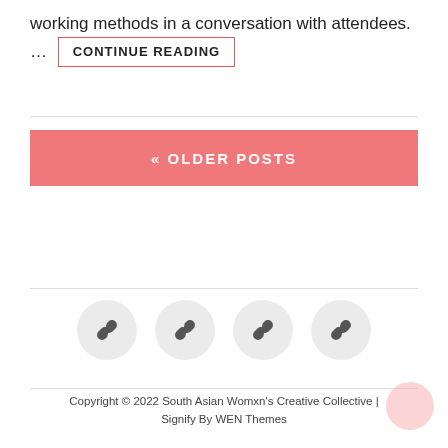working methods in a conversation with attendees. ...
CONTINUE READING
« OLDER POSTS
[Figure (other): Four circular icon buttons with link/chain icons arranged in a row]
Copyright © 2022 South Asian Womxn's Creative Collective | Signify By WEN Themes